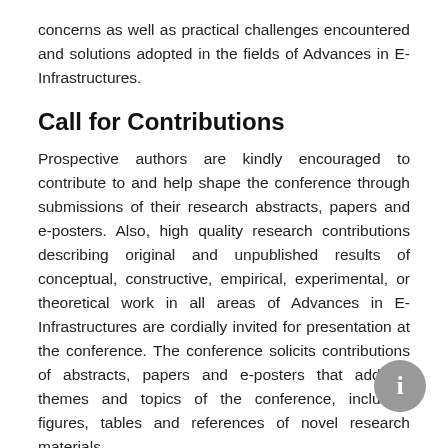concerns as well as practical challenges encountered and solutions adopted in the fields of Advances in E-Infrastructures.
Call for Contributions
Prospective authors are kindly encouraged to contribute to and help shape the conference through submissions of their research abstracts, papers and e-posters. Also, high quality research contributions describing original and unpublished results of conceptual, constructive, empirical, experimental, or theoretical work in all areas of Advances in E-Infrastructures are cordially invited for presentation at the conference. The conference solicits contributions of abstracts, papers and e-posters that address themes and topics of the conference, including figures, tables and references of novel research materials.